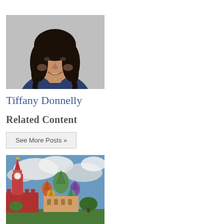[Figure (photo): Portrait photo of a woman with dark curly hair, smiling, against a gray background]
Tiffany Donnelly
Related Content
See More Posts »
[Figure (photo): Photo of Saint Basil's Cathedral and Kremlin Tower in Moscow, Russia, with dramatic cloudy sky]